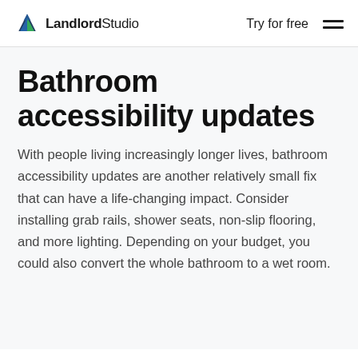LandlordStudio — Try for free
Bathroom accessibility updates
With people living increasingly longer lives, bathroom accessibility updates are another relatively small fix that can have a life-changing impact. Consider installing grab rails, shower seats, non-slip flooring, and more lighting. Depending on your budget, you could also convert the whole bathroom to a wet room.